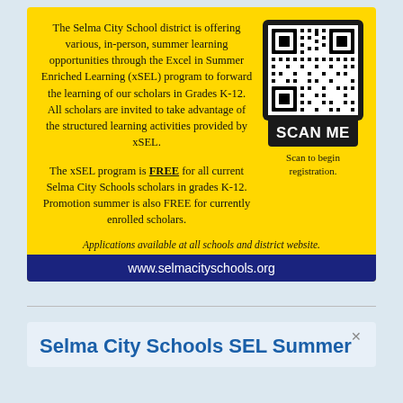[Figure (infographic): Yellow background flyer for Selma City Schools xSEL summer learning program with QR code, body text, and blue URL bar.]
The Selma City School district is offering various, in-person, summer learning opportunities through the Excel in Summer Enriched Learning (xSEL) program to forward the learning of our scholars in Grades K-12. All scholars are invited to take advantage of the structured learning activities provided by xSEL.
The xSEL program is FREE for all current Selma City Schools scholars in grades K-12. Promotion summer is also FREE for currently enrolled scholars.
Applications available at all schools and district website.
www.selmacityschools.org
Selma City Schools SEL Summer